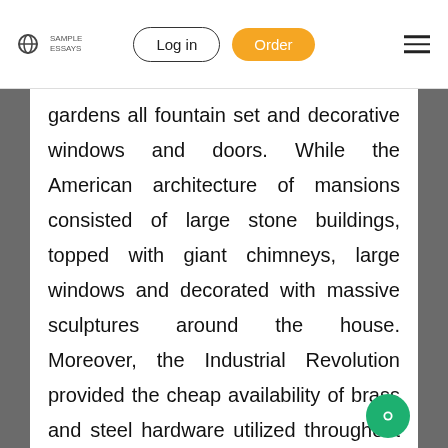Log in | Order
gardens all fountain set and decorative windows and doors. While the American architecture of mansions consisted of large stone buildings, topped with giant chimneys, large windows and decorated with massive sculptures around the house. Moreover, the Industrial Revolution provided the cheap availability of brass and steel hardware utilized throughout these houses.
History states that every great revolution or